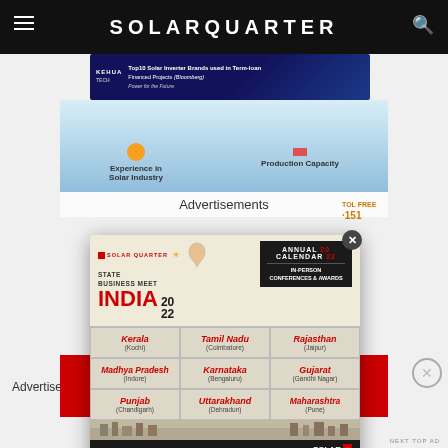SOLARQUARTER
[Figure (screenshot): Banner advertisement for KEHUA TECH - Top10 Solar Inverter Brands used in Term-loan Financed Projects]
[Figure (infographic): Partial infographic showing Solar Industry and Production Capacity labels]
Advertisements
[Figure (screenshot): Solar Quarter State Business Meet India 2022 - Annual Calendar 2022, In-Person Conferences & Awards. States: Kerala (Kochi), Tamil Nadu (Coimbatore), Rajasthan (Jaipur), Madhya Pradesh (Indore), Karnataka (Bengaluru), Gujarat (Gandhi Nagar), Punjab (Chandigarh), Uttarakhand (Dehradun), Maharashtra (Pune). Sponsor & Exhibit: sponsor@firstviewgroup.com, 9372788472/7718877514]
Name
Advertisements